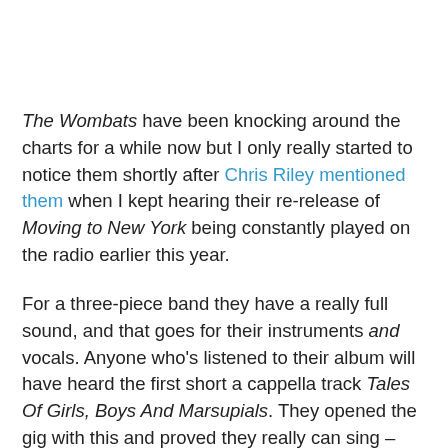The Wombats have been knocking around the charts for a while now but I only really started to notice them shortly after Chris Riley mentioned them when I kept hearing their re-release of Moving to New York being constantly played on the radio earlier this year.
For a three-piece band they have a really full sound, and that goes for their instruments and vocals. Anyone who's listened to their album will have heard the first short a cappella track Tales Of Girls, Boys And Marsupials. They opened the gig with this and proved they really can sing – albeit like a barbershop triplet!
Full of energy, they continued to impress throughout the gig and proved they really knew how to get the crowd going. They belted out pretty much ever song from their album – occasionally taking it in turns to add some keyboard to the